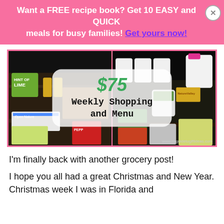Want a FREE recipe book? Get 10 EASY and QUICK meals for busy families! Get yours now!
[Figure (photo): Two-panel photo of grocery items on dark shelves, with a semi-transparent overlay box in the center reading '$75 Weekly Shopping and Menu'. Watermark: www.nsguidetogiftideas.com]
I'm finally back with another grocery post!
I hope you all had a great Christmas and New Year. Christmas week I was in Florida and